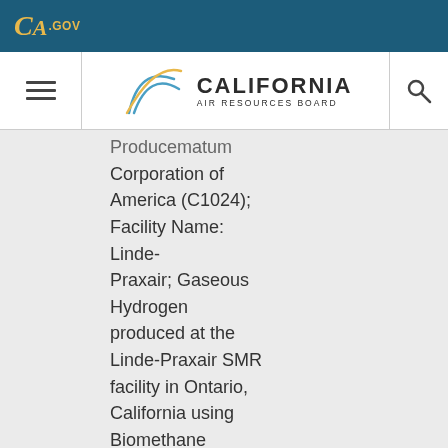CA.GOV
[Figure (logo): California Air Resources Board logo with stylized arch lines and CALIFORNIA AIR RESOURCES BOARD text]
Producematum Corporation of America (C1024); Facility Name: Linde-Praxair; Gaseous Hydrogen produced at the Linde-Praxair SMR facility in Ontario, California using Biomethane derived from swine manure generated at Valley View Farm,